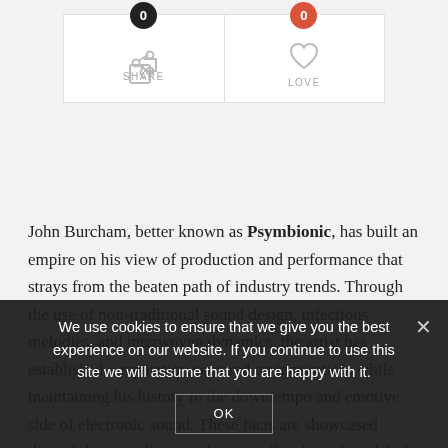[Figure (screenshot): Share and Love buttons with badge counts. Share has a black badge showing 0, Love has a red badge showing 0. Icons are share and heart symbols in gray. Labels SHARE and LOVE below.]
John Burcham, better known as Psymbionic, has built an empire on his view of production and performance that strays from the beaten path of industry trends. Through the use of non-traditional sound design, infectious melodies, and interwoven dynamics, the artist has established a reputation centered on innovation, while maintaining his history in the downtempo and emotive side of electronic sound. These facts are showcased through his vast discography, as well as his role as label manager for Gravitas Recordings.
We use cookies to ensure that we give you the best experience on our website. If you continue to use this site we will assume that you are happy with it.